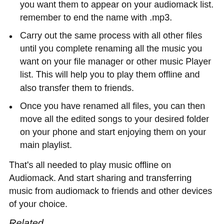you want them to appear on your audiomack list. remember to end the name with .mp3.
Carry out the same process with all other files until you complete renaming all the music you want on your file manager or other music Player list. This will help you to play them offline and also transfer them to friends.
Once you have renamed all files, you can then move all the edited songs to your desired folder on your phone and start enjoying them on your main playlist.
That's all needed to play music offline on Audiomack. And start sharing and transferring music from audiomack to friends and other devices of your choice.
Related